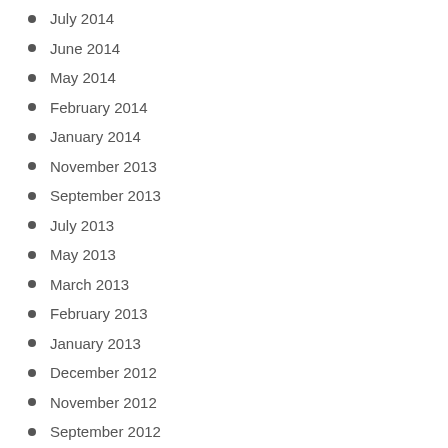July 2014
June 2014
May 2014
February 2014
January 2014
November 2013
September 2013
July 2013
May 2013
March 2013
February 2013
January 2013
December 2012
November 2012
September 2012
May 2012
April 2012